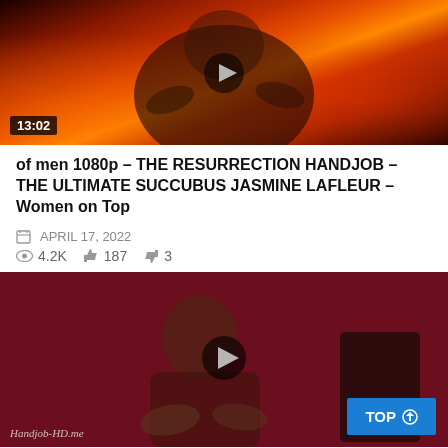[Figure (screenshot): Video thumbnail with fiery background, woman with tattoos, duration badge showing 13:02]
of men 1080p – THE RESURRECTION HANDJOB – THE ULTIMATE SUCCUBUS JASMINE LAFLEUR – Women on Top
APRIL 17, 2022  4.2K  187  3
[Figure (screenshot): Video thumbnail with dark red background, woman with brown hair, play button overlay, TOP button, watermark Handjob-HD.me]